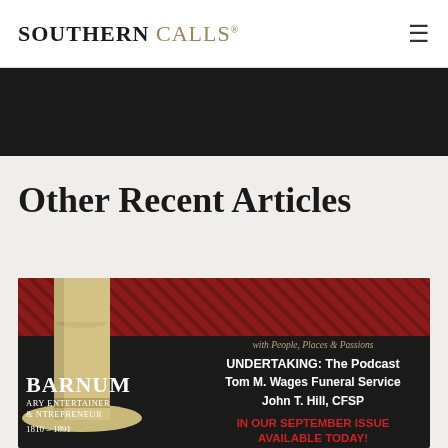SOUTHERN CALLS®
Other Recent Articles
[Figure (illustration): Article card for UNDERTAKING: The Podcast featuring Tom M. Wages Funeral Service and John T. Hill, CFSP. Background shows red patterned fabric top with a tan period hat on the left, text 'BARNUM' on the left side, 'LEGENDARY ENTERTAINER & ENTREPRENEUR 1810-1891' and on the right 'with People, Places & Passions', 'UNDERTAKING: The Podcast', 'Tom M. Wages Funeral Service', 'John T. Hill, CFSP', 'IN OUR SEPTEMBER ISSUE AVAILABLE TODAY!' in red.]